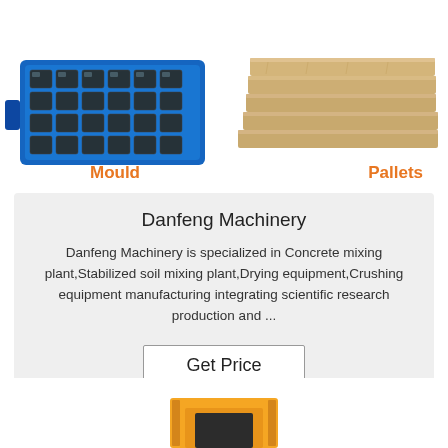[Figure (photo): Blue industrial mould tray with multiple cavities, labeled 'Mould' in orange]
[Figure (photo): Stack of wooden pallets/boards, labeled 'Pallets' in orange]
Danfeng Machinery
Danfeng Machinery is specialized in Concrete mixing plant,Stabilized soil mixing plant,Drying equipment,Crushing equipment manufacturing integrating scientific research production and ...
Get Price
[Figure (photo): Yellow machinery/equipment visible at bottom of page]